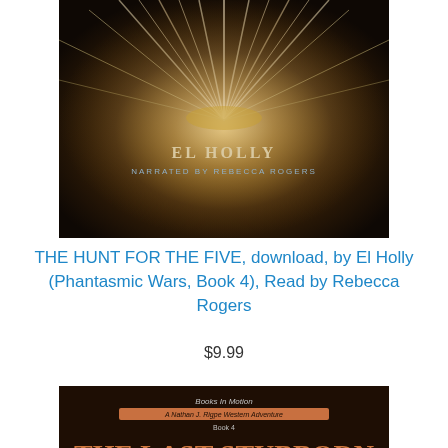[Figure (photo): Audiobook cover for 'The Hunt for the Five' by El Holly, narrated by Rebecca Rogers. Shows an open book with fanning pages in warm golden-brown tones. Text overlaid: 'El Holly' and 'Narrated by Rebecca Rogers'.]
THE HUNT FOR THE FIVE, download, by El Holly (Phantasmic Wars, Book 4), Read by Rebecca Rogers
$9.99
[Figure (photo): Audiobook cover for 'The Last Stubborn Buffalo in Nevada'. Dark brown background with orange/rust title text. Bottom portion shows a scene of a cowboy at a fence looking at buffalo/cattle in a field under a cloudy sky. Top text reads 'Books In Motion' and subtitle about a western adventure.]